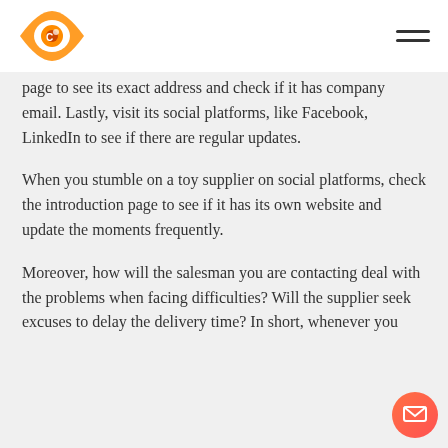[Logo] [Hamburger menu]
page to see its exact address and check if it has company email. Lastly, visit its social platforms, like Facebook, LinkedIn to see if there are regular updates.
When you stumble on a toy supplier on social platforms, check the introduction page to see if it has its own website and update the moments frequently.
Moreover, how will the salesman you are contacting deal with the problems when facing difficulties? Will the supplier seek excuses to delay the delivery time? In short, whenever you